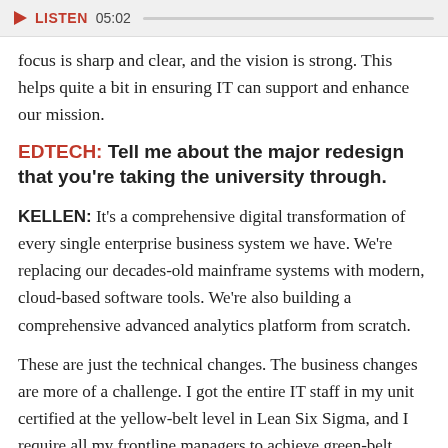[Figure (other): Audio player bar showing play button, LISTEN label, timestamp 05:02, and progress bar]
focus is sharp and clear, and the vision is strong. This helps quite a bit in ensuring IT can support and enhance our mission.
EDTECH: Tell me about the major redesign that you're taking the university through.
KELLEN: It's a comprehensive digital transformation of every single enterprise business system we have. We're replacing our decades-old mainframe systems with modern, cloud-based software tools. We're also building a comprehensive advanced analytics platform from scratch.
These are just the technical changes. The business changes are more of a challenge. I got the entire IT staff in my unit certified at the yellow-belt level in Lean Six Sigma, and I require all my frontline managers to achieve green-belt certification. Now, more than 2,200 UC San Diego staffers,